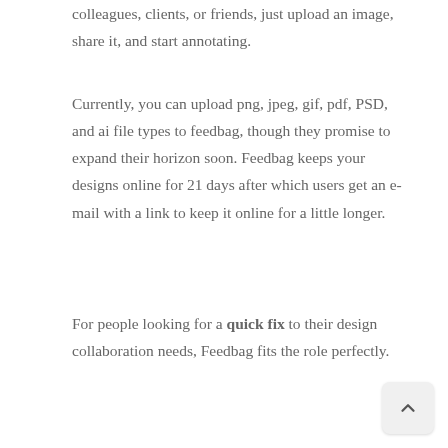colleagues, clients, or friends, just upload an image, share it, and start annotating.
Currently, you can upload png, jpeg, gif, pdf, PSD, and ai file types to feedbag, though they promise to expand their horizon soon. Feedbag keeps your designs online for 21 days after which users get an e-mail with a link to keep it online for a little longer.
For people looking for a quick fix to their design collaboration needs, Feedbag fits the role perfectly.